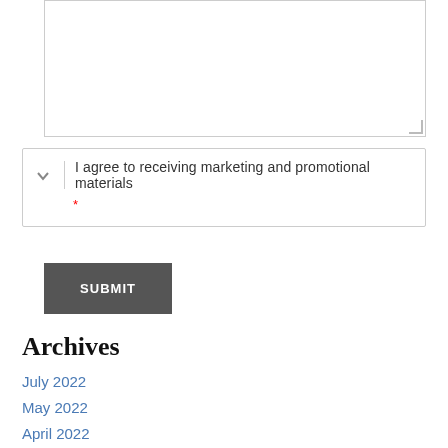[Figure (screenshot): A textarea input field with resize handle at bottom right]
I agree to receiving marketing and promotional materials
*
SUBMIT
Archives
July 2022
May 2022
April 2022
December 2021
November 2021
September 2021